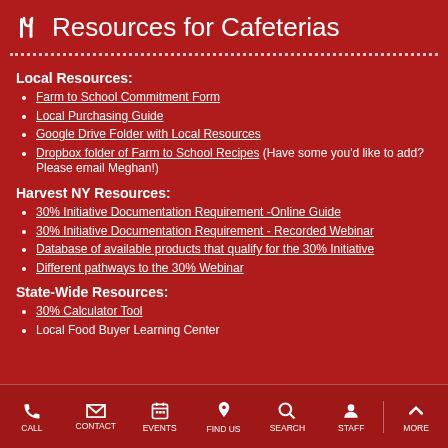Resources for Cafeterias
Local Resources:
Farm to School Commitment Form
Local Purchasing Guide
Google Drive Folder with Local Resources
Dropbox folder of Farm to School Recipes (Have some you'd like to add? Please email Meghan!)
Harvest NY Resources:
30% Initiative Documentation Requirement -Online Guide
30% Initiative Documentation Requirement - Recorded Webinar
Database of available products that qualify for the 30% Initiative
Different pathways to the 30% Webinar
State-Wide Resources:
30% Calculator Tool
Local Food Buyer Learning Center
CALL CONTACT EVENTS FIND US SEARCH STAFF MORE